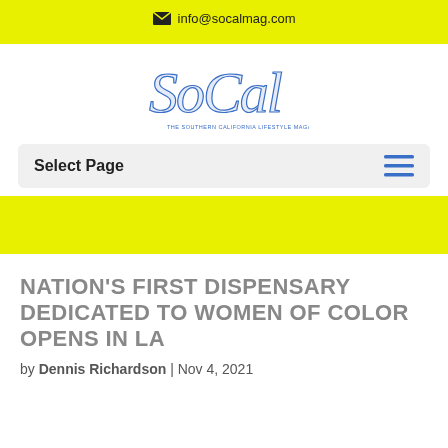✉ info@socalmag.com
[Figure (logo): SoCal magazine logo in blue script lettering]
Select Page
NATION'S FIRST DISPENSARY DEDICATED TO WOMEN OF COLOR OPENS IN LA
by Dennis Richardson | Nov 4, 2021